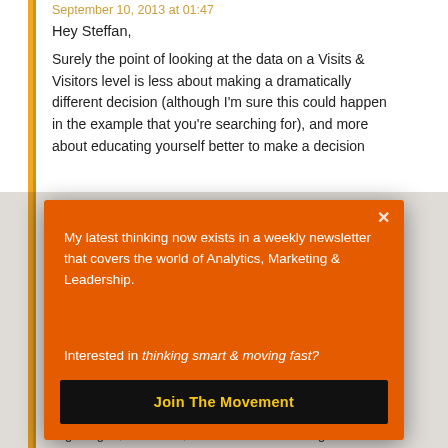September 10, 2013 at 01:47
Hey Steffan,
Surely the point of looking at the data on a Visits & Visitors level is less about making a dramatically different decision (although I'm sure this could happen in the example that you're searching for), and more about educating yourself better to make a decision
[Figure (screenshot): Orange modal popup overlay with text: 'My latest thinking now exists in a weekly newsletter that covers the world of Analytics, Marketing & Leadership.' and 'Interested in thinking smart & moving fast?' with a black 'Join The Movement' button and an X close button.]
is getting at, or at least, what I see in his findings.